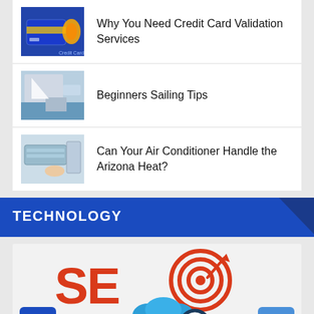Why You Need Credit Card Validation Services
Beginners Sailing Tips
Can Your Air Conditioner Handle the Arizona Heat?
TECHNOLOGY
[Figure (illustration): SEO graphic with large red 'SEO' letters, a target/bullseye icon, blue cloud, and magnifying glass on a laptop concept. Camera icon button bottom-left, up-arrow button bottom-right.]